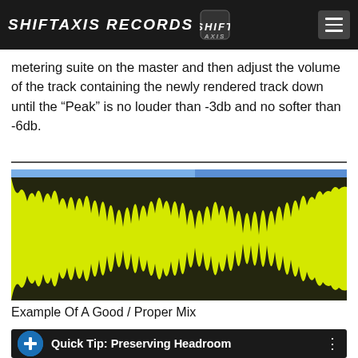SHIFTAXIS RECORDS
metering suite on the master and then adjust the volume of the track containing the newly rendered track down until the “Peak” is no louder than -3db and no softer than -6db.
[Figure (other): Waveform display of a music track showing a yellow and black audio waveform on a dark background, with a blue selection bar at the top. Labeled as an example of a good/proper mix.]
Example Of A Good / Proper Mix
[Figure (screenshot): Video thumbnail for 'Quick Tip: Preserving Headroom' showing a dark background with a blue circular icon with a white plus sign, and the title text in white.]